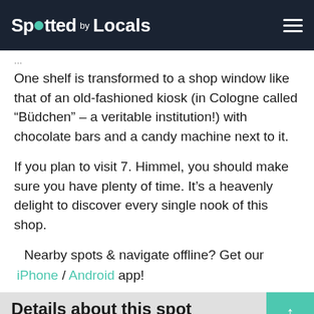Spotted by Locals
One shelf is transformed to a shop window like that of an old-fashioned kiosk (in Cologne called “Büdchen” – a veritable institution!) with chocolate bars and a candy machine next to it.
If you plan to visit 7. Himmel, you should make sure you have plenty of time. It’s a heavenly delight to discover every single nook of this shop.
Nearby spots & navigate offline? Get our iPhone / Android app!
Details about this spot
Categories
We use cookies to analyze traffic, provide personalized ads and social media features. We share (anonymous!) data with our partners. Ok No Details